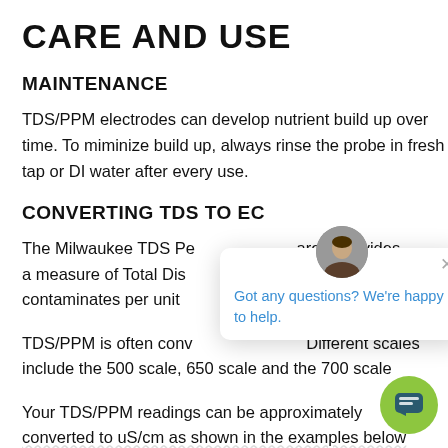CARE AND USE
MAINTENANCE
TDS/PPM electrodes can develop nutrient build up over time. To miminize build up, always rinse the probe in fresh tap or DI water after every use.
CONVERTING TDS TO EC
The Milwaukee TDS Pen, like all TDS meters, provides a measure of Total Dissolved Solids or contaminates per unit of volume.
TDS/PPM is often converted to us/cm. Different scales include the 500 scale, 650 scale and the 700 scale.
Your TDS/PPM readings can be approximately converted to uS/cm as shown in the examples below.